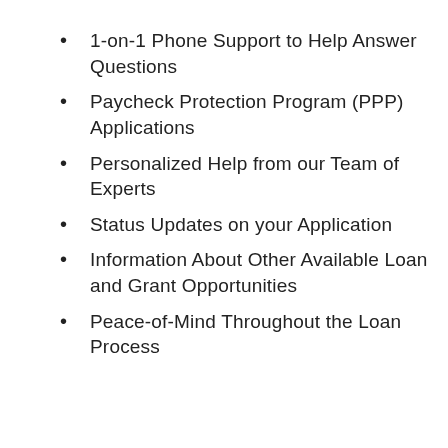1-on-1 Phone Support to Help Answer Questions
Paycheck Protection Program (PPP) Applications
Personalized Help from our Team of Experts
Status Updates on your Application
Information About Other Available Loan and Grant Opportunities
Peace-of-Mind Throughout the Loan Process